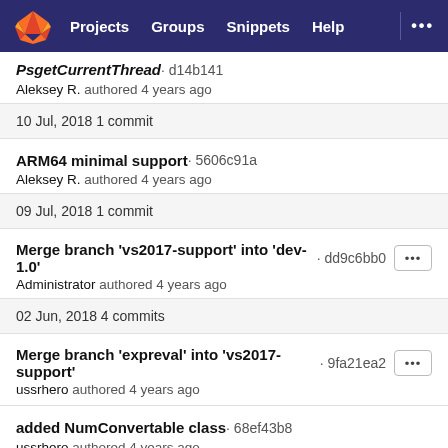Projects  Groups  Snippets  Help  ...
PsgetCurrentThread · d14b141
Aleksey R. authored 4 years ago
10 Jul, 2018 1 commit
ARM64 minimal support · 5606c91a
Aleksey R. authored 4 years ago
09 Jul, 2018 1 commit
Merge branch 'vs2017-support' into 'dev-1.0' · dd9c6bb0
Administrator authored 4 years ago
02 Jun, 2018 4 commits
Merge branch 'expreval' into 'vs2017-support' · 9fa21ea2
ussrhero authored 4 years ago
added NumConvertable class · 68ef43b8
ussrhero authored 4 years ago
Merge branch 'expreval' into 'vs2017-support' · 84b1ad6a